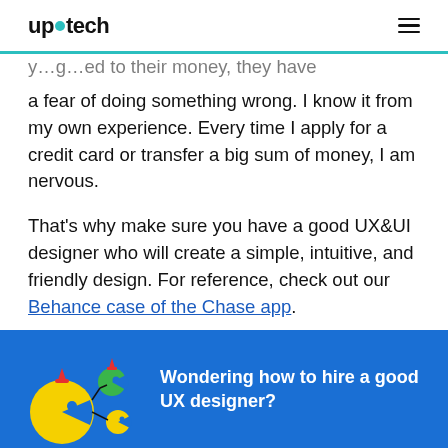up•tech
…y…g…ed to their money, they have a fear of doing something wrong. I know it from my own experience. Every time I apply for a credit card or transfer a big sum of money, I am nervous.
That's why make sure you have a good UX&UI designer who will create a simple, intuitive, and friendly design. For reference, check out our Behance case of the Chase app.
[Figure (infographic): Blue banner with cartoon characters (yellow circles with faces, green figure) and text 'Wondering how to hire a good UX designer?']